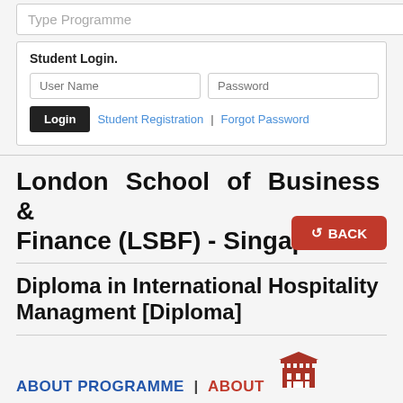Type Programme
Student Login.
User Name
Password
Login   Student Registration  |  Forgot Password
London School of Business & Finance (LSBF) - Singapore
Diploma in International Hospitality Managment [Diploma]
ABOUT PROGRAMME | ABOUT
The Diploma in International Hospitality Managment...